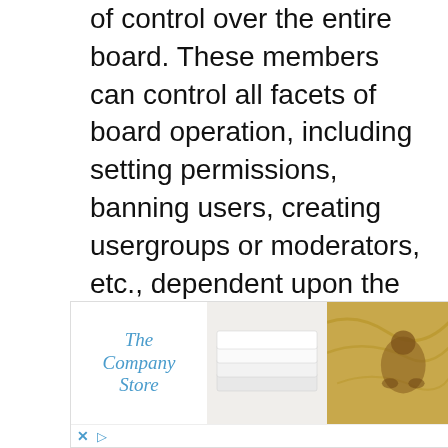of control over the entire board. These members can control all facets of board operation, including setting permissions, banning users, creating usergroups or moderators, etc., dependent upon the board founder and what permissions he or she has given the other administrators. They may also have full moderator capabilities in all forums, depending on the settings put
[Figure (other): Advertisement banner for The Company Store featuring the brand logo in blue italic text, a photo of white folded sheets, and a photo of a person wrapped in golden/yellow fabric.]